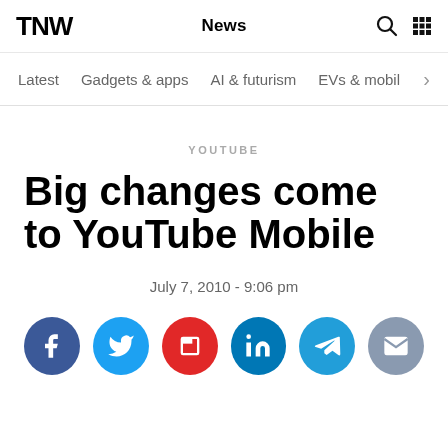TNW | News
Latest   Gadgets & apps   AI & futurism   EVs & mobil
YOUTUBE
Big changes come to YouTube Mobile
July 7, 2010 - 9:06 pm
[Figure (infographic): Social share buttons: Facebook, Twitter, Flipboard, LinkedIn, Telegram, Email]